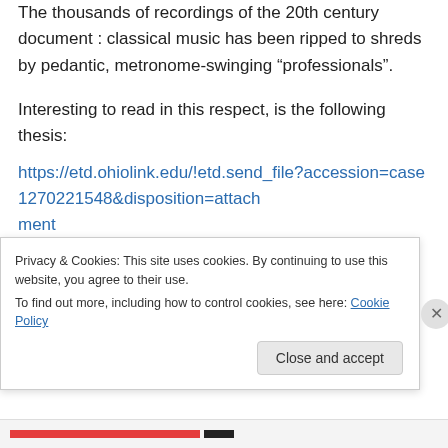The thousands of recordings of the 20th century document : classical music has been ripped to shreds by pedantic, metronome-swinging “professionals”.
Interesting to read in this respect, is the following thesis:
https://etd.ohiolink.edu/!etd.send_file?accession=case1270221548&disposition=attachment
Best wishes,
Privacy & Cookies: This site uses cookies. By continuing to use this website, you agree to their use.
To find out more, including how to control cookies, see here: Cookie Policy